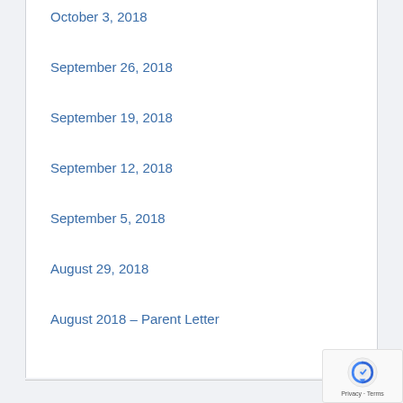October 3, 2018
September 26, 2018
September 19, 2018
September 12, 2018
September 5, 2018
August 29, 2018
August 2018 – Parent Letter